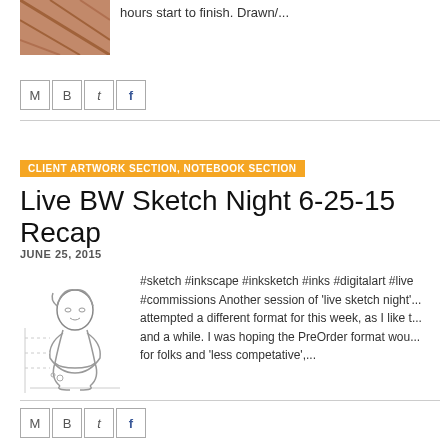[Figure (photo): Thumbnail image - reddish/orange texture, partially visible at top left]
hours start to finish. Drawn/...
[Figure (other): Social sharing icons: M, B, t, f]
CLIENT ARTWORK SECTION, NOTEBOOK SECTION
Live BW Sketch Night 6-25-15 Recap
JUNE 25, 2015
[Figure (illustration): Black and white sketch of a cartoon character sitting against a wall, hugging knees]
#sketch #inkscape #inksketch #inks #digitalart #live #commissions Another session of 'live sketch night'... attempted a different format for this week, as I like t... and a while. I was hoping the PreOrder format wou... for folks and 'less competative',...
[Figure (other): Social sharing icons: M, B, t, f]